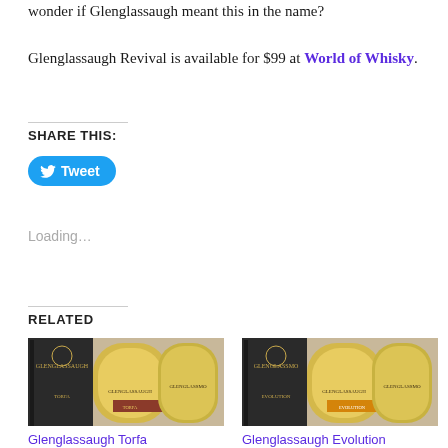wonder if Glenglassaugh meant this in the name?

Glenglassaugh Revival is available for $99 at World of Whisky.
SHARE THIS:
Tweet
Loading…
RELATED
[Figure (photo): Glenglassaugh Torfa whisky bottle with box]
Glenglassaugh Torfa
[Figure (photo): Glenglassaugh Evolution whisky bottle with box]
Glenglassaugh Evolution